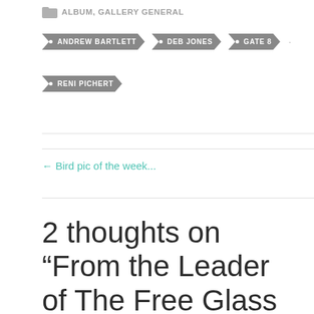ALBUM, GALLERY GENERAL
ANDREW BARTLETT
DEB JONES
GATE 8
RENI PICHERT
← Bird pic of the week...
From Jas... →
2 thoughts on “From the Leader of The Free Glass